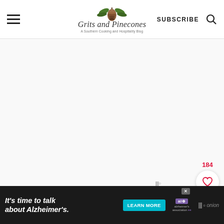Grits and Pinecones — A Southern Cooking and Hospitality Blog | SUBSCRIBE
[Figure (other): Large white/blank advertisement or content area below header]
Instructions
1. [partial step text cut off]
[Figure (other): Advertisement banner — It's time to talk about Alzheimer's. LEARN MORE — Alzheimer's Association with close button and Mediavine logo]